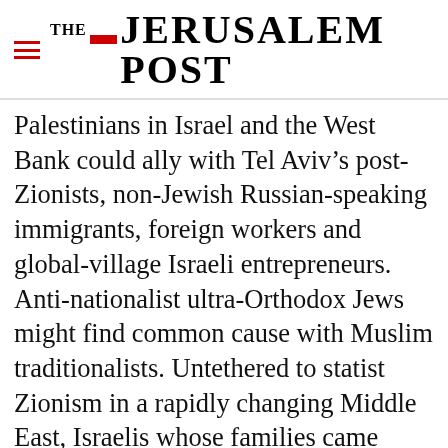THE JERUSALEM POST
Palestinians in Israel and the West Bank could ally with Tel Aviv’s post-Zionists, non-Jewish Russian-speaking immigrants, foreign workers and global-village Israeli entrepreneurs. Anti-nationalist ultra-Orthodox Jews might find common cause with Muslim traditionalists. Untethered to statist Zionism in a rapidly changing Middle East, Israelis whose families came from Arab countries might find new reasons to think of themselves not as “Eastern,” but as Arab. Masses of downtrodden
Advertisement